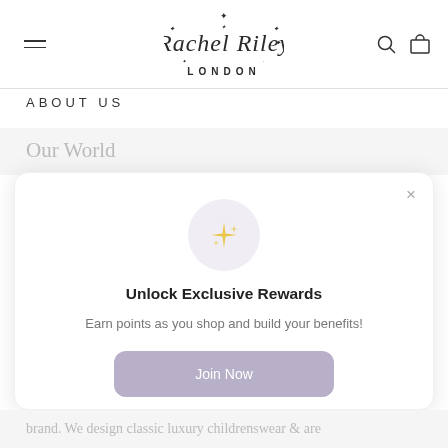Rachel Riley London
ABOUT US
Our World
[Figure (screenshot): Loyalty rewards modal popup with sparkle icon, title 'Unlock Exclusive Rewards', description text, Join Now button, and Sign in link]
brand. We design classic luxury childrenswear & are